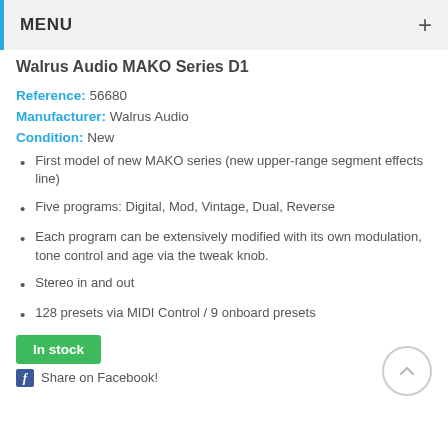MENU +
Walrus Audio MAKO Series D1
Reference: 56680
Manufacturer: Walrus Audio
Condition: New
First model of new MAKO series (new upper-range segment effects line)
Five programs: Digital, Mod, Vintage, Dual, Reverse
Each program can be extensively modified with its own modulation, tone control and age via the tweak knob.
Stereo in and out
128 presets via MIDI Control / 9 onboard presets
In stock
Share on Facebook!